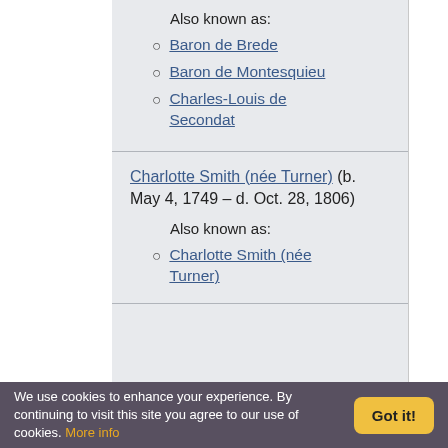Also known as:
Baron de Brede
Baron de Montesquieu
Charles-Louis de Secondat
Charlotte Smith (née Turner) (b. May 4, 1749 – d. Oct. 28, 1806)
Also known as:
Charlotte Smith (née Turner)
We use cookies to enhance your experience. By continuing to visit this site you agree to our use of cookies. More info